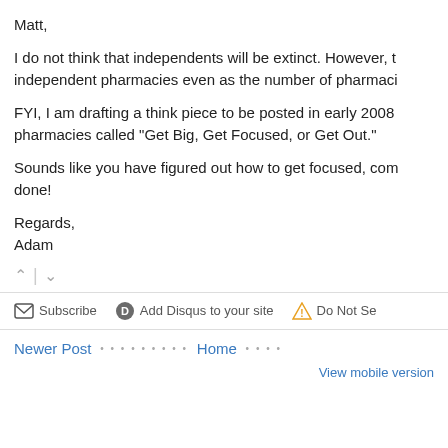Matt,
I do not think that independents will be extinct. However, t independent pharmacies even as the number of pharmaci
FYI, I am drafting a think piece to be posted in early 2008 pharmacies called "Get Big, Get Focused, or Get Out."
Sounds like you have figured out how to get focused, com done!
Regards,
Adam
Subscribe | Add Disqus to your site | Do Not Se
Newer Post • • • • • • • • • Home • • • •
View mobile version